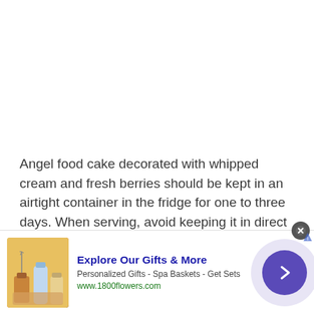Angel food cake decorated with whipped cream and fresh berries should be kept in an airtight container in the fridge for one to three days. When serving, avoid keeping it in direct sunlight, as the whipped cream will melt quickly.

Undecorated angel food cake can also be frozen,
[Figure (other): Advertisement banner for 1800flowers.com. Shows product image of spa/gift items (diffuser, soap bottles), headline 'Explore Our Gifts & More', subtext 'Personalized Gifts - Spa Baskets - Get Sets', URL 'www.1800flowers.com', close button, and purple arrow button.]